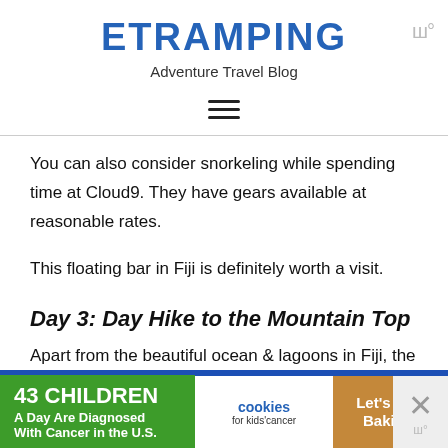ETRAMPING — Adventure Travel Blog
You can also consider snorkeling while spending time at Cloud9. They have gears available at reasonable rates.
This floating bar in Fiji is definitely worth a visit.
Day 3: Day Hike to the Mountain Top
Apart from the beautiful ocean & lagoons in Fiji, the country also boasts of beautiful hikes in the forest. You get an opportunity to be one with nature and Fiji
[Figure (other): Advertisement banner: '43 CHILDREN A Day Are Diagnosed With Cancer in the U.S.' with cookies for kids' cancer logo and Let's Get Baking button]